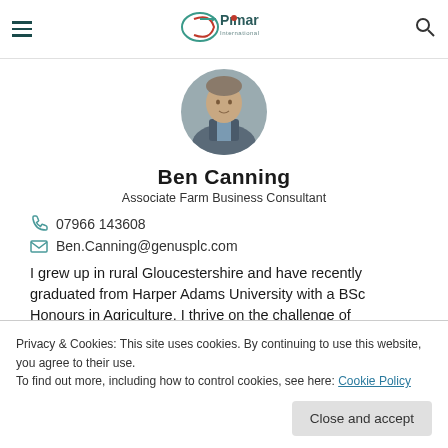Promar International navigation header
[Figure (photo): Profile photo of Ben Canning, wearing a dark vest over a blue shirt]
Ben Canning
Associate Farm Business Consultant
07966 143608
Ben.Canning@genusplc.com
I grew up in rural Gloucestershire and have recently graduated from Harper Adams University with a BSc Honours in Agriculture. I thrive on the challenge of
Privacy & Cookies: This site uses cookies. By continuing to use this website, you agree to their use.
To find out more, including how to control cookies, see here: Cookie Policy
Close and accept